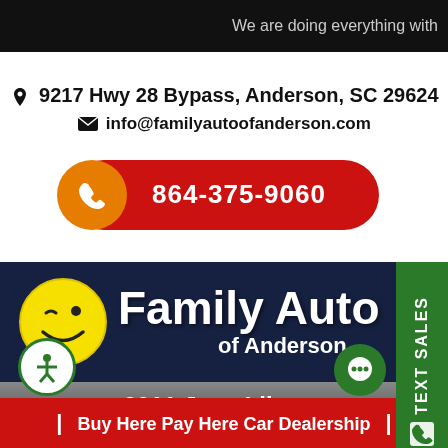We are doing everything with
9217 Hwy 28 Bypass, Anderson, SC 29624
info@familyautoofanderson.com
864-375-9060
[Figure (logo): Family Auto of Anderson logo with yellow smiley face on dark navy background]
2011 Jeep Liberty
Buy Here Pay Here Car Dealership